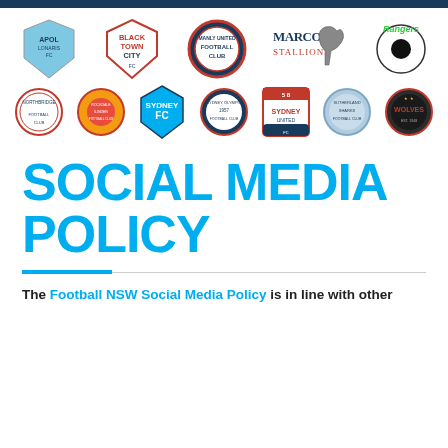[Figure (illustration): Two rows of football club logos: Row 1: Apollonaris FC, Blacktown City FC, Manly United Football Club, Marconi Stallions, Rangers. Row 2: Northbridge Football Club, Rockdale Ilinden Football Club, Sydney FC, Sydney Olympic Football Club, Sydney United 58, Sutherland Sharks Football Club, Wolves.]
SOCIAL MEDIA POLICY
The Football NSW Social Media Policy is in line with other